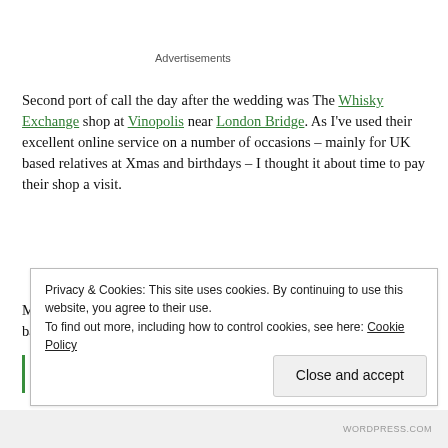Advertisements
Second port of call the day after the wedding was The Whisky Exchange shop at Vinopolis near London Bridge. As I've used their excellent online service on a number of occasions – mainly for UK based relatives at Xmas and birthdays – I thought it about time to pay their shop a visit.
My goal was a bottle of One – a blend using spirit from the recent batch of new distilleries opening in Scotland, England,
Privacy & Cookies: This site uses cookies. By continuing to use this website, you agree to their use.
To find out more, including how to control cookies, see here: Cookie Policy
Close and accept